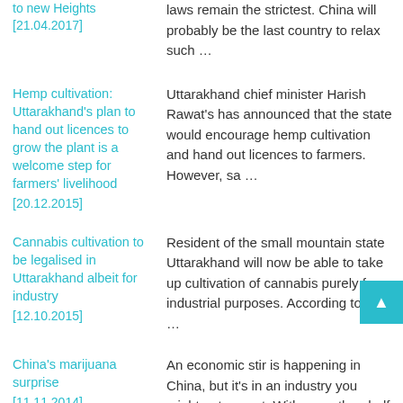laws remain the strictest. China will probably be the last country to relax such …
Hemp cultivation: Uttarakhand's plan to hand out licences to grow the plant is a welcome step for farmers' livelihood [20.12.2015]
Uttarakhand chief minister Harish Rawat's has announced that the state would encourage hemp cultivation and hand out licences to farmers. However, sa …
Cannabis cultivation to be legalised in Uttarakhand albeit for industry [12.10.2015]
Resident of the small mountain state Uttarakhand will now be able to take up cultivation of cannabis purely for industrial purposes. According to off …
China's marijuana surprise [11.11.2014]
An economic stir is happening in China, but it's in an industry you might not expect. With more than half of the 600 relevant patents